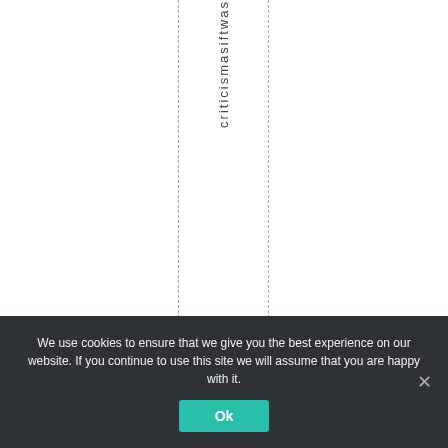criticismwasift
We use cookies to ensure that we give you the best experience on our website. If you continue to use this site we will assume that you are happy with it.
Ok